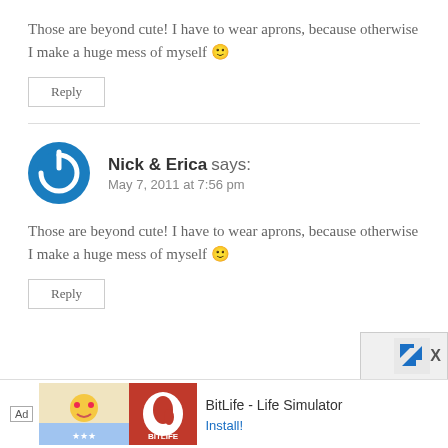Those are beyond cute! I have to wear aprons, because otherwise I make a huge mess of myself 🙂
Reply
Nick & Erica says: May 7, 2011 at 7:56 pm
Those are beyond cute! I have to wear aprons, because otherwise I make a huge mess of myself 🙂
Reply
[Figure (other): Advertisement banner: BitLife - Life Simulator with Install button]